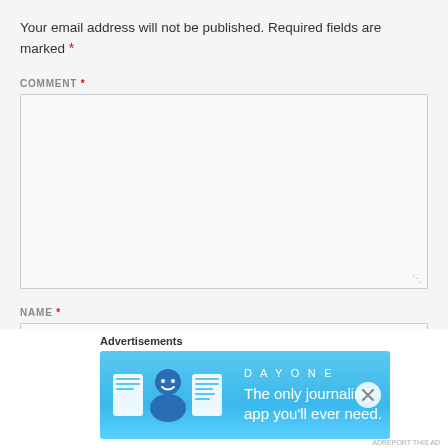Your email address will not be published. Required fields are marked *
COMMENT *
[Figure (other): Empty comment textarea with resize handle]
NAME *
[Figure (other): Name input text field (partially visible)]
Advertisements
[Figure (illustration): DAY ONE app advertisement banner: blue background with journaling app icons and text 'The only journaling app you'll ever need.']